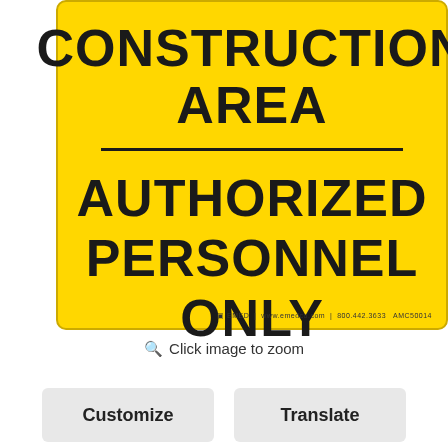[Figure (other): Yellow construction area safety sign reading 'CONSTRUCTION AREA' with a horizontal divider line, then 'AUTHORIZED PERSONNEL ONLY' in bold black text on yellow background. Small logo/text in bottom right corner.]
Click image to zoom
Customize
Translate